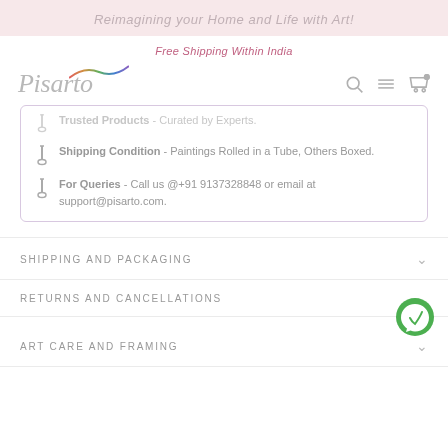Reimagining your Home and Life with Art!
Free Shipping Within India
[Figure (logo): Pisarto logo in italic script with rainbow accent mark]
Trusted Products - Curated by Experts.
Shipping Condition - Paintings Rolled in a Tube, Others Boxed.
For Queries - Call us @+91 9137328848 or email at support@pisarto.com.
SHIPPING AND PACKAGING
RETURNS AND CANCELLATIONS
ART CARE AND FRAMING